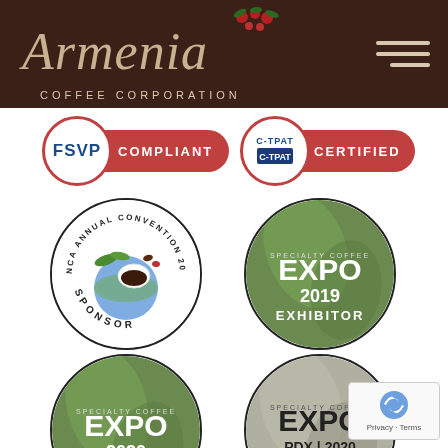[Figure (logo): Armenia Coffee Corporation logo with script text and coffee berry illustration on dark brown header background, with hamburger menu icon]
[Figure (infographic): FSVP COMPLIANT badge - circular red-bordered FSVP label with red pill-shaped COMPLIANT text]
[Figure (infographic): C-TPAT CERTIFIED badge - circular red-bordered C-TPAT logo with red pill-shaped CERTIFIED text]
[Figure (infographic): NCA Annual Convention 2018 SPONSOR circular badge with coffee cup and globe imagery]
[Figure (infographic): Specialty Coffee EXPO 2019 EXHIBITOR circular badge with green leaf background]
[Figure (infographic): Specialty Coffee EXPO 2020 EXHIBITOR circular badge with green leaf background]
[Figure (infographic): Specialty Coffee EXPO PDX | 2020 EXHIBITOR circular badge with green leaf background]